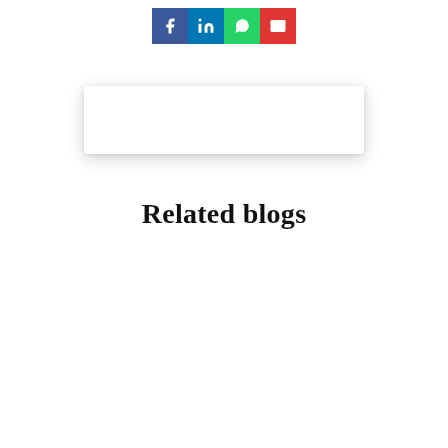[Figure (other): Social share buttons: Facebook (purple-blue), LinkedIn (blue), WhatsApp (green), Email (red), each as a square icon button]
[Figure (other): White card/box with drop shadow, empty content area]
Related blogs